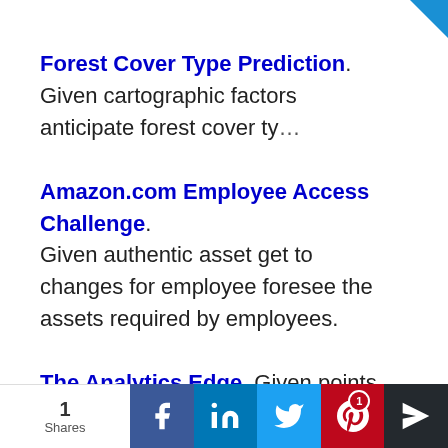Forest Cover Type Prediction. Given cartographic factors anticipate forest cover ty...
Amazon.com Employee Access Challenge. Given authentic asset get to changes for employee foresee the assets required by employees.
The Analytics Edge. Given points of interest of new your circumstances articles foresee which
1 Shares | Facebook | LinkedIn | Twitter | Pinterest 1 | Crown